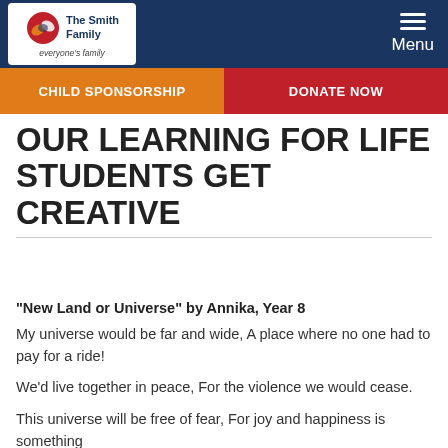The Smith Family — everyone's family | Menu
CHILD SPONSORSHIP | DONATE NOW
OUR LEARNING FOR LIFE STUDENTS GET CREATIVE
"New Land or Universe" by Annika, Year 8
My universe would be far and wide, A place where no one had to pay for a ride!
We'd live together in peace, For the violence we would cease.
This universe will be free of fear, For joy and happiness is something